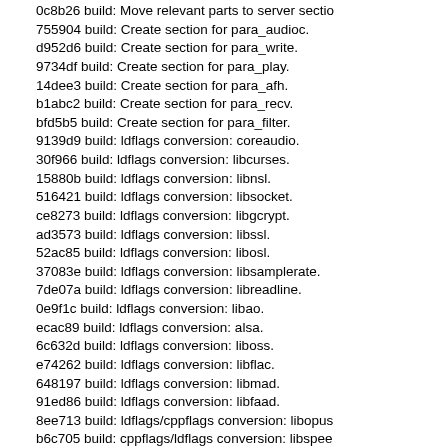0c8b26 build: Move relevant parts to server section
755904 build: Create section for para_audioc.
d952d6 build: Create section for para_write.
9734df build: Create section for para_play.
14dee3 build: Create section for para_afh.
b1abc2 build: Create section for para_recv.
bfd5b5 build: Create section for para_filter.
9139d9 build: ldflags conversion: coreaudio.
30f966 build: ldflags conversion: libcurses.
15880b build: ldflags conversion: libnsl.
516421 build: ldflags conversion: libsocket.
ce8273 build: ldflags conversion: libgcrypt.
ad3573 build: ldflags conversion: libssl.
52ac85 build: ldflags conversion: libosl.
37083e build: ldflags conversion: libsamplerate.
7de07a build: ldflags conversion: libreadline.
0e9f1c build: ldflags conversion: libao.
ecac89 build: ldflags conversion: alsa.
6c632d build: ldflags conversion: liboss.
e74262 build: ldflags conversion: libflac.
648197 build: ldflags conversion: libmad.
91ed86 build: ldflags conversion: libfaad.
8ee713 build: ldflags/cppflags conversion: libopus
b6c705 build: cppflags/ldflags conversion: libspee
7aa414 build: ldflags conversion: libvorbis.
80a639 build: ldflags conversion: libogg.
c79cdc build: cppflags/ldflags conversion: libid3tag
a02396 build: Remove duplicates from $all_objs.
d2fc4d build: Remove inactive DEBUG_CPPFLAG
e8f310 build: Replace error2.pl by error2.c.